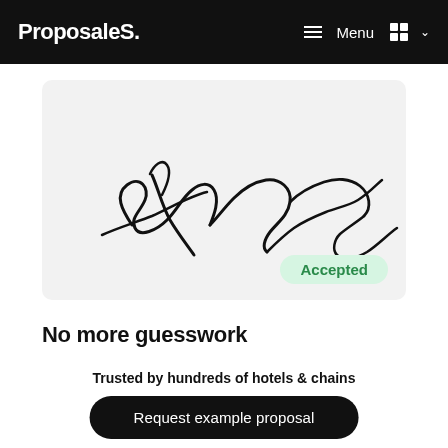ProposaleS. Menu
[Figure (illustration): A handwritten cursive signature on a light grey background with a green 'Accepted' badge in the bottom right corner.]
No more guesswork
Trusted by hundreds of hotels & chains
Request example proposal